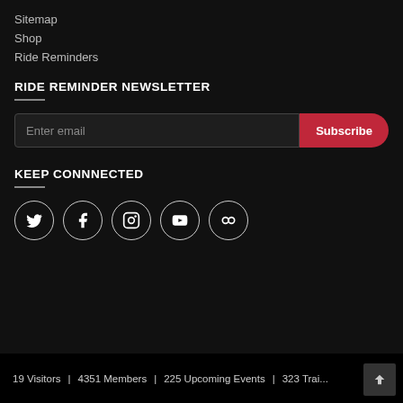Sitemap
Shop
Ride Reminders
RIDE REMINDER NEWSLETTER
Enter email [Subscribe button]
KEEP CONNNECTED
[Figure (other): Social media icons: Twitter, Facebook, Instagram, YouTube, Flickr in circular outlines]
19 Visitors | 4351 Members | 225 Upcoming Events | 323 Trai...